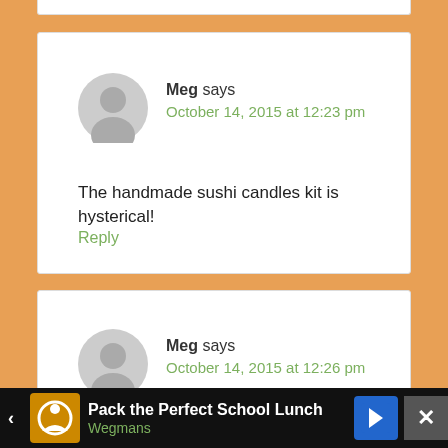Meg says
October 14, 2015 at 12:23 pm
The handmade sushi candles kit is hysterical!
Reply
Meg says
October 14, 2015 at 12:26 pm
And visited the facebook page... Cute pegboard
[Figure (screenshot): Ad banner: Pack the Perfect School Lunch - Wegmans]